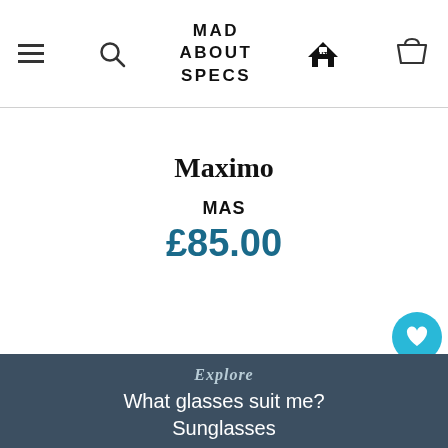MAD ABOUT SPECS
Maximo
MAS
£85.00
Explore
What glasses suit me? Sunglasses